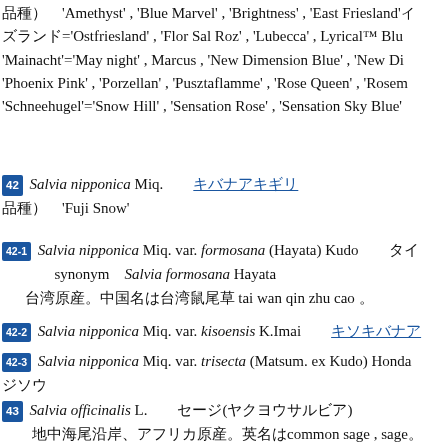品種）　'Amethyst' , 'Blue Marvel' , 'Brightness' , 'East Friesland'イーズランド='Ostfriesland' , 'Flor Sal Roz' , 'Lubecca' , Lyrical™ Blu 'Mainacht'='May night' , Marcus , 'New Dimension Blue' , 'New Di 'Phoenix Pink' , 'Porzellan' , 'Pusztaflamme' , 'Rose Queen' , 'Rosem 'Schneehugel'='Snow Hill' , 'Sensation Rose' , 'Sensation Sky Blue'
42 Salvia nipponica Miq.　キバナアキギリ
品種）　'Fuji Snow'
42-1 Salvia nipponica Miq. var. formosana (Hayata) Kudo　タイ
synonym　Salvia formosana Hayata
台湾原産。中国名は台湾鼠尾草 tai wan qin zhu cao 。
42-2 Salvia nipponica Miq. var. kisoensis K.Imai　キソキバナア
42-3 Salvia nipponica Miq. var. trisecta (Matsum. ex Kudo) Honda
ジソウ
43 Salvia officinalis L.　セージ(ヤクヨウサルビア)
地中海尾沿岸、アフリカ原産。英名はcommon sage , sage。
□ sa er wei ya
多年草。茎は直立、基部は木質になり、小さな白色の綿毛数、分枝する。葉柄は長さ0〜3㎝。葉身は長楠円形〜楠円形